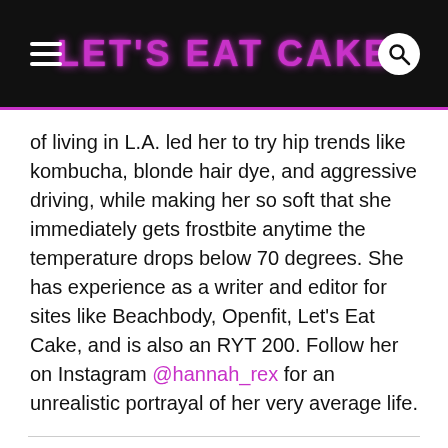LET'S EAT CAKE
of living in L.A. led her to try hip trends like kombucha, blonde hair dye, and aggressive driving, while making her so soft that she immediately gets frostbite anytime the temperature drops below 70 degrees. She has experience as a writer and editor for sites like Beachbody, Openfit, Let's Eat Cake, and is also an RYT 200. Follow her on Instagram @hannah_rex for an unrealistic portrayal of her very average life.